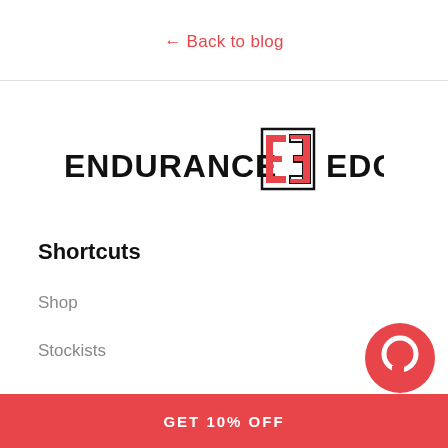← Back to blog
[Figure (logo): Endurance Edge logo with stylized E icon in red and black, bold text reading ENDURANCE EDGE]
Shortcuts
Shop
Stockists
GET 10% OFF